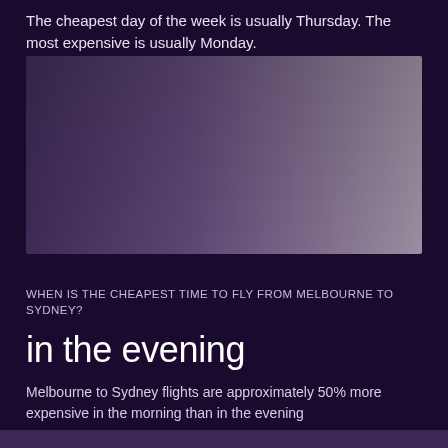The cheapest day of the week is usually Thursday. The most expensive is usually Monday.
[Figure (other): A gradient chart area with purple/grey tones showing day-of-week flight price variation, darker on left fading to lighter grey-purple on right]
WHEN IS THE CHEAPEST TIME TO FLY FROM MELBOURNE TO SYDNEY?
in the evening
Melbourne to Sydney flights are approximately 50% more expensive in the morning than in the evening